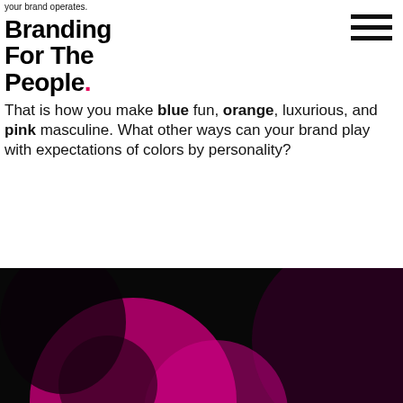your brand operates.
Branding For The People.
That is how you make blue fun, orange, luxurious, and pink masculine. What other ways can your brand play with expectations of colors by personality?
If your brand has taken you as far it can go, there’s only one way to take it further. It’s not with a marketing agency. Not with a business coach. Not even a graphic designer. It is with a branding agency. We’d love to help.
[Figure (photo): Dark abstract image with magenta/purple circular shapes on black background]